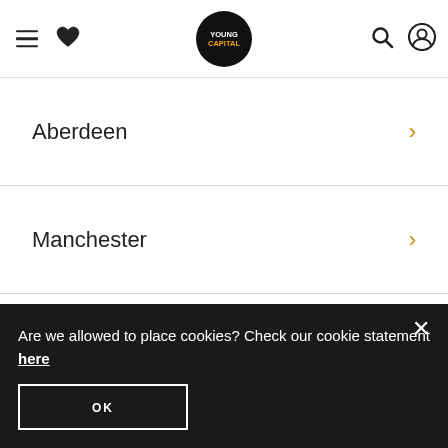YoungCapital navigation header with hamburger menu, heart icon, logo, search icon, account icon
Aberdeen
Manchester
Birmingham
Oxford
Leeds
Bristol
Are we allowed to place cookies? Check our cookie statement here
OK